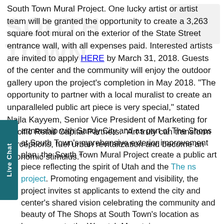South Town Mural Project. One lucky artist or artist team will be granted the opportunity to create a 3,263 square foot mural on the exterior of the State Street entrance wall, with all expenses paid. Interested artists are invited to apply HERE by March 31, 2018. Guests of the center and the community will enjoy the outdoor gallery upon the project's completion in May 2018. “The opportunity to partner with a local muralist to create an unparalleled public art piece is very special,” stated Najla Kayyem, Senior Vice President of Marketing for Pacific Retail Capital Partners. “Art truly can transform perceptions, fuel urban revitalization and become an economic stimulus.”
artnership with Sandy City and as part of The Shops at South Town’s mprehensive exterior improvement plan, the South Town Mural Project create a public art piece reflecting the spirit of Utah and the The ns project. Promoting engagement and visibility, the project invites st applicants to extend the city and center’s shared vision celebrating the community and beauty of The Shops at South Town’s location as base-camp to the Wasatch Mountains.